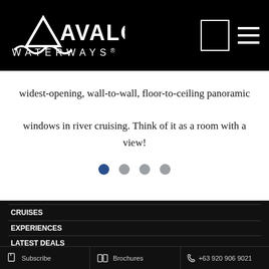[Figure (logo): Avalon Waterways logo with stylized wave/mountain mark and text AVALON WATERWAYS in white on black background]
widest-opening, wall-to-wall, floor-to-ceiling panoramic windows in river cruising. Think of it as a room with a view!
[Figure (other): Carousel navigation dots: one active blue dot followed by three gray dots]
CRUISES
EXPERIENCES
LATEST DEALS
Subscribe   Brochures   +63 920 906 9021